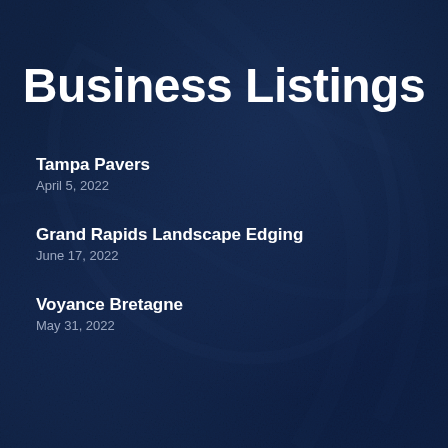Business Listings
Tampa Pavers
April 5, 2022
Grand Rapids Landscape Edging
June 17, 2022
Voyance Bretagne
May 31, 2022